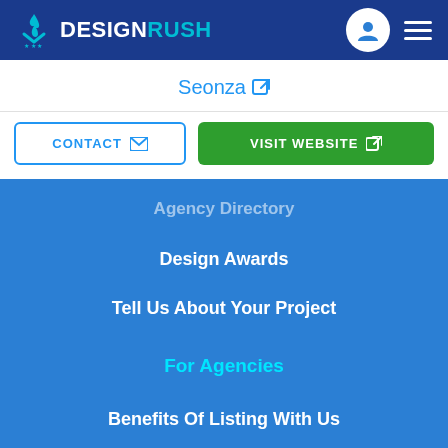DESIGNRUSH
Seonza
CONTACT | VISIT WEBSITE
Agency Directory
Design Awards
Tell Us About Your Project
For Agencies
Benefits Of Listing With Us
Submit An Agency